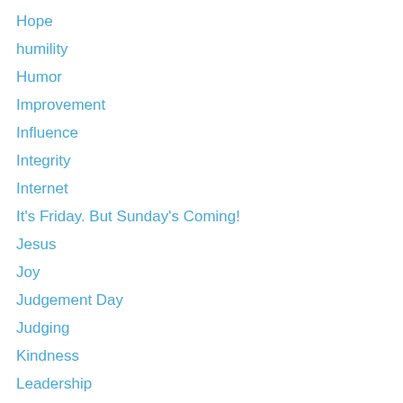Hope
humility
Humor
Improvement
Influence
Integrity
Internet
It's Friday. But Sunday's Coming!
Jesus
Joy
Judgement Day
Judging
Kindness
Leadership
Life
Light
Love
Mankind
Marriage
maturity